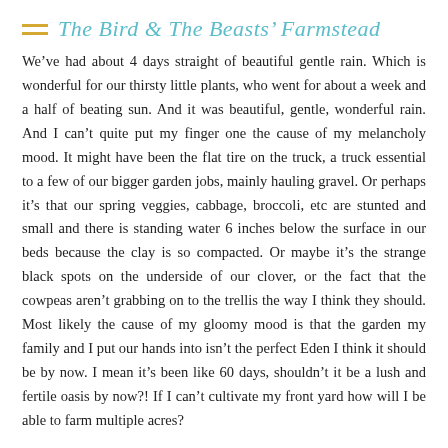The Bird & The Beasts' Farmstead
We've had about 4 days straight of beautiful gentle rain. Which is wonderful for our thirsty little plants, who went for about a week and a half of beating sun. And it was beautiful, gentle, wonderful rain. And I can't quite put my finger one the cause of my melancholy mood. It might have been the flat tire on the truck, a truck essential to a few of our bigger garden jobs, mainly hauling gravel. Or perhaps it's that our spring veggies, cabbage, broccoli, etc are stunted and small and there is standing water 6 inches below the surface in our beds because the clay is so compacted. Or maybe it's the strange black spots on the underside of our clover, or the fact that the cowpeas aren't grabbing on to the trellis the way I think they should. Most likely the cause of my gloomy mood is that the garden my family and I put our hands into isn't the perfect Eden I think it should be by now. I mean it's been like 60 days, shouldn't it be a lush and fertile oasis by now?! If I can't cultivate my front yard how will I be able to farm multiple acres?